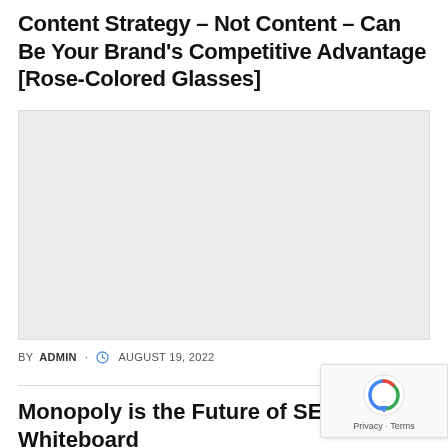Content Strategy – Not Content – Can Be Your Brand's Competitive Advantage [Rose-Colored Glasses]
[Figure (other): Light gray placeholder image block]
BY ADMIN · AUGUST 19, 2022
Monopoly is the Future of SEO — Whiteboard